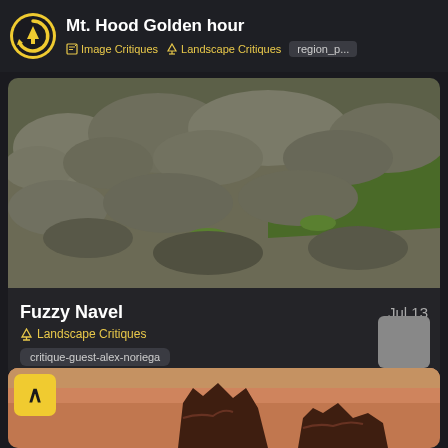Mt. Hood Golden hour | Image Critiques | Landscape Critiques | region_p...
[Figure (photo): Landscape photo showing hillside covered in dry grey-green shrubs/sage brush with a strip of green grass, taken from above.]
Fuzzy Navel
Jul 13
Landscape Critiques
critique-guest-alex-noriega
[Figure (photo): Landscape golden hour photo showing dark rocky formations silhouetted against a warm orange and peach sunset sky.]